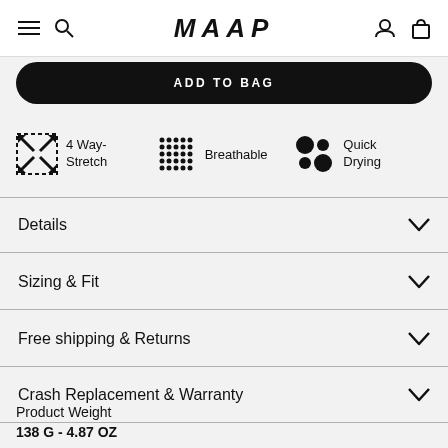MAAP
ADD TO BAG
4 Way-Stretch
Breathable
Quick Drying
Details
Sizing & Fit
Free shipping & Returns
Crash Replacement & Warranty
Product Weight
138 G - 4.87 OZ